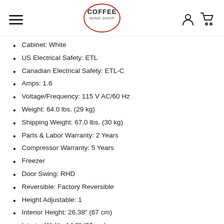Coffee Wine Shop
Cabinet: White
US Electrical Safety: ETL
Canadian Electrical Safety: ETL-C
Amps: 1.6
Voltage/Frequency: 115 V AC/60 Hz
Weight: 64.0 lbs. (29 kg)
Shipping Weight: 67.0 lbs. (30 kg)
Parts & Labor Warranty: 2 Years
Compressor Warranty: 5 Years
Freezer
Door Swing: RHD
Reversible: Factory Reversible
Height Adjustable: 1
Interior Height: 26.38" (67 cm)
Interior Width: 14.0" (36 cm)
Interior Depth: 16.75" (43 cm)
Thermostat Type: Digital
Fan Type: Exterior
Refrigerant Type: R134a